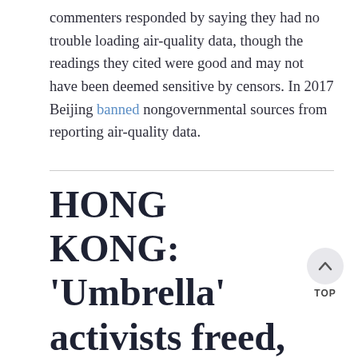commenters responded by saying they had no trouble loading air-quality data, though the readings they cited were good and may not have been deemed sensitive by censors. In 2017 Beijing banned nongovernmental sources from reporting air-quality data.
HONG KONG: 'Umbrella' activists freed, candidate banned, detained bookseller